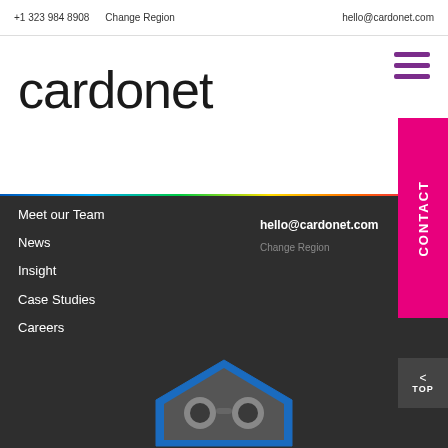+1 323 984 8908   Change Region   hello@cardonet.com
[Figure (logo): Hamburger menu icon (three horizontal lines) in purple/magenta color]
cardonet
[Figure (infographic): Rainbow gradient horizontal stripe separating header from dark navigation section]
[Figure (other): Vertical CONTACT button in magenta/pink on right side]
Meet our Team
News
Insight
Case Studies
Careers
hello@cardonet.com
Change Region
[Figure (logo): Cardonet hexagonal logo icon with stylized owl/face design in blue and grey at bottom center]